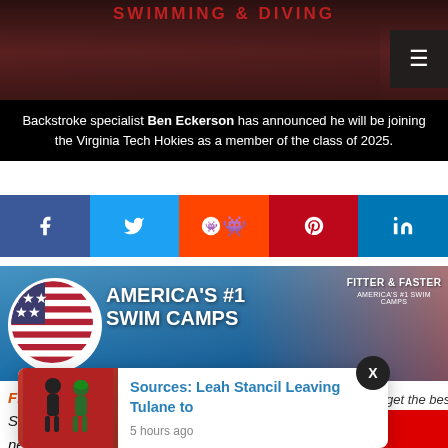[Figure (photo): Hero image of swimmer in dark maroon Nike shirt with a hamburger menu button in the top right corner. Text 'SWIMMING & DIVING' partially visible at top.]
Backstroke specialist Ben Eckerson has announced he will be joining the Virginia Tech Hokies as a member of the class of 2025.
[Figure (infographic): Social media share bar with Facebook, Twitter, Reddit, Pinterest, LinkedIn buttons]
[Figure (infographic): Fitter and Faster Swim Camps advertisement banner with American flag circle, headline 'AMERICA'S #1 SWIM CAMPS', and Fitter & Faster logo]
Fitter and Faster Swim Camps is the proud sponsor of SwimSwam's College Recruiting Channel and all commitment news. For many, swimming in college is a lifelong dream that is pursued with dedication and
[Figure (screenshot): Popup notification card showing 'Sources: Leah Stancil Leaving Tulane to' with timestamp '5 hours ago' and a small image, with an X close button]